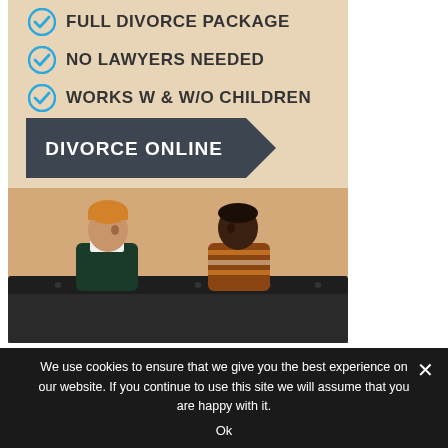[Figure (illustration): Advertisement for online divorce service showing three checkmark bullet points (Full Divorce Package, No Lawyers Needed, Works W & W/O Children), a dark arrow banner reading DIVORCE ONLINE, and a photo of a man with an orange beanie and a woman in a striped sweater sitting apart on a black sofa against a tan/beige background.]
We use cookies to ensure that we give you the best experience on our website. If you continue to use this site we will assume that you are happy with it.
Ok